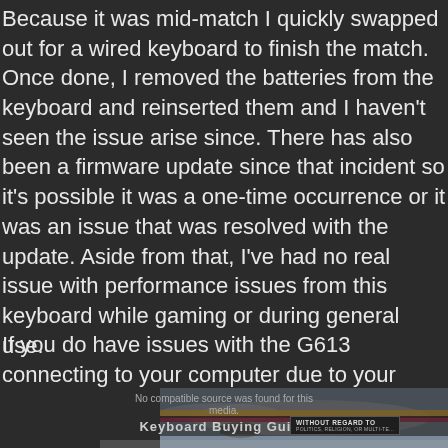Because it was mid-match I quickly swapped out for a wired keyboard to finish the match. Once done, I removed the batteries from the keyboard and reinserted them and I haven't seen the issue arise since. There has also been a firmware update since that incident so it's possible it was a one-time occurrence or it was an issue that was resolved with the update. Aside from that, I've had no real issue with performance issues from this keyboard while gaming or during general use.
If you do have issues with the G613 connecting to your computer due to your setup (desktop computer under your desk for example), you can always use the
[Figure (other): A video player overlay showing 'No compatible source was found for this media.' with a 'Keyboard Buying Guide' label, overlaid on a partially visible airplane and keyboard image. A badge reads 'WITHOUT REGARD TO' at the bottom right.]